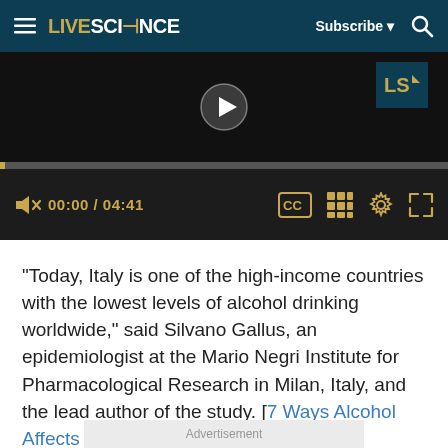LIVESCIENCE | Subscribe | Search
[Figure (screenshot): Video player showing a paused video with a yellow progress bar at 00:00 / 04:41. Controls include speaker/mute, time display, CC, grid, settings, and fullscreen icons in gold on dark background.]
"Today, Italy is one of the high-income countries with the lowest levels of alcohol drinking worldwide," said Silvano Gallus, an epidemiologist at the Mario Negri Institute for Pharmacological Research in Milan, Italy, and the lead author of the study. [7 Ways Alcohol Affects Your Health]
Advertisement